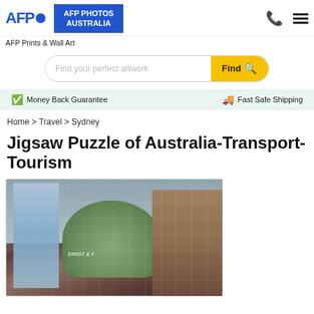AFP PHOTOS AUSTRALIA
AFP Prints & Wall Art
Find your perfect artwork
Money Back Guarantee   Fast Safe Shipping
Home > Travel > Sydney
Jigsaw Puzzle of Australia-Transport-Tourism
[Figure (photo): Jigsaw puzzle image showing a domed heritage building (Queen Victoria Building) with modern glass skyscrapers in the background, Sydney Australia]